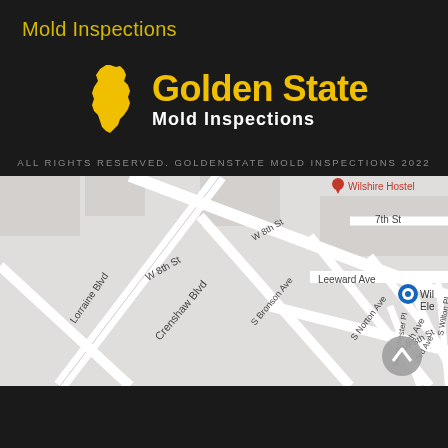Mold Inspections
[Figure (logo): Golden State Mold Inspections logo with California state shape in gold and company name in gold and white text on dark background]
ALL RIGHTS RESERVED. GOLDENSTATE MOLD INSPECTIONS 2022
[Figure (map): Google Maps screenshot showing street map with Crenshaw Blvd, W 8th St, Lorraine Blvd, S Bronson Ave, S Norton Ave, 5th Ave, 3rd Ave, Westchester Pl, S Wilton Pl, Leeward Ave, 7th St, and Wilshire Hostel marker]